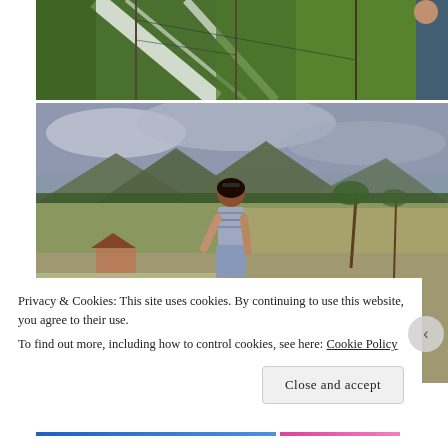[Figure (photo): Aerial or elevated view of green rice terraces/paddies with water channels and poles/fencing visible, a person partially visible on the right edge]
[Figure (photo): Young woman in crop top and denim shorts standing on a path between rice terraces/paddies, with mountains and cloudy sky in background in Bali]
Privacy & Cookies: This site uses cookies. By continuing to use this website, you agree to their use.
To find out more, including how to control cookies, see here: Cookie Policy
Close and accept